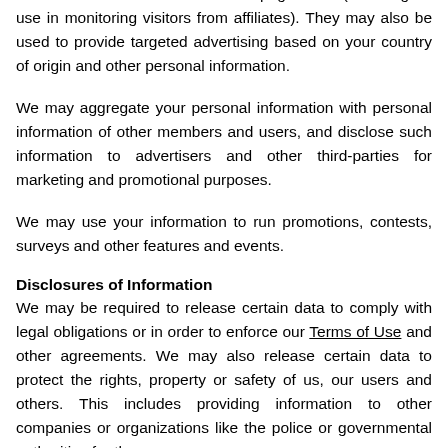such as the number of visitors and page views (including for use in monitoring visitors from affiliates). They may also be used to provide targeted advertising based on your country of origin and other personal information.
We may aggregate your personal information with personal information of other members and users, and disclose such information to advertisers and other third-parties for marketing and promotional purposes.
We may use your information to run promotions, contests, surveys and other features and events.
Disclosures of Information
We may be required to release certain data to comply with legal obligations or in order to enforce our Terms of Use and other agreements. We may also release certain data to protect the rights, property or safety of us, our users and others. This includes providing information to other companies or organizations like the police or governmental authorities for the